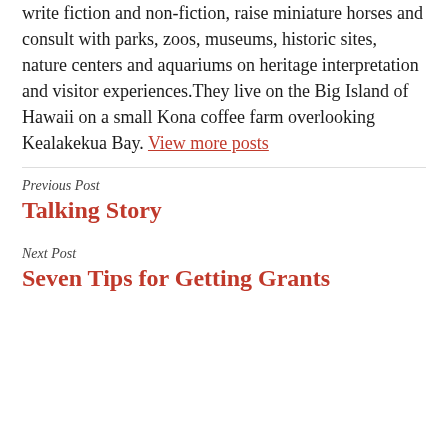write fiction and non-fiction, raise miniature horses and consult with parks, zoos, museums, historic sites, nature centers and aquariums on heritage interpretation and visitor experiences.They live on the Big Island of Hawaii on a small Kona coffee farm overlooking Kealakekua Bay. View more posts
Previous Post
Talking Story
Next Post
Seven Tips for Getting Grants